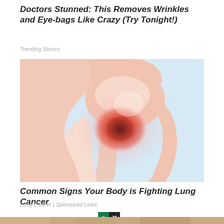Doctors Stunned: This Removes Wrinkles and Eye-bags Like Crazy (Try Tonight!)
Trending Stories
[Figure (illustration): Medical illustration of a human shoulder joint with a glowing red area indicating pain or inflammation at the joint.]
Common Signs Your Body is Fighting Lung Cancer
Lung Cancer | Sponsored Links